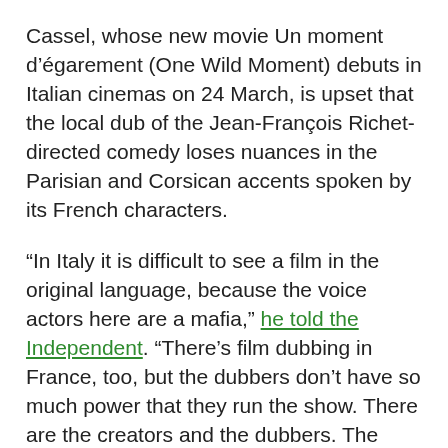Cassel, whose new movie Un moment d’égarement (One Wild Moment) debuts in Italian cinemas on 24 March, is upset that the local dub of the Jean-François Richet-directed comedy loses nuances in the Parisian and Corsican accents spoken by its French characters.
“In Italy it is difficult to see a film in the original language, because the voice actors here are a mafia,” he told the Independent. “There’s film dubbing in France, too, but the dubbers don’t have so much power that they run the show. There are the creators and the dubbers. The dubbers stick to the voiceovers. When there’s a dubbers’ strike, the cinemas don’t close.”
Cassel’s comments have caused a storm in Italy, which has long preferred dubbed versions of foreign movies, resulting in an entire industry of voiceover artists. Many have become stars in their own right: when Claudio Capone, the man who was the